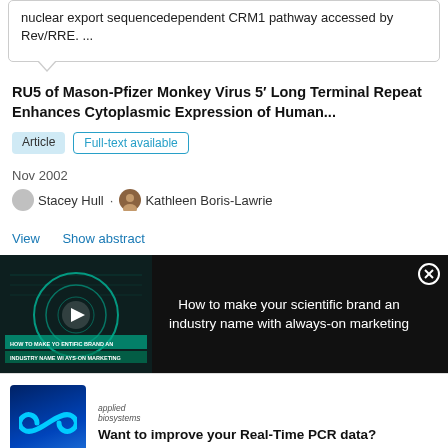nuclear export sequencedependent CRM1 pathway accessed by Rev/RRE. ...
RU5 of Mason-Pfizer Monkey Virus 5′ Long Terminal Repeat Enhances Cytoplasmic Expression of Human...
Article  Full-text available
Nov 2002
Stacey Hull · Kathleen Boris-Lawrie
View  Show abstract
[Figure (screenshot): Video ad strip: 'How to make your scientific brand an industry name with always-on marketing' with a video thumbnail on the left and text on the right, dark background]
[Figure (screenshot): Applied Biosystems advertisement: logo on left with infinity symbol, text 'Want to improve your Real-Time PCR data?']